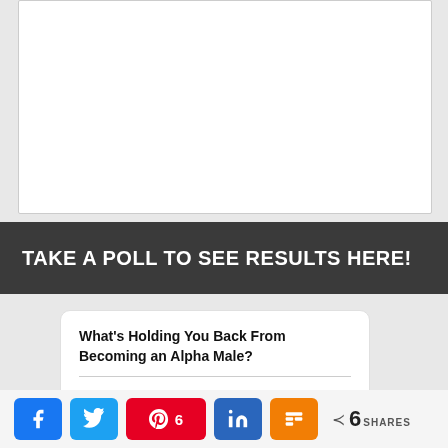[Figure (other): White ad/image box placeholder]
TAKE A POLL TO SEE RESULTS HERE!
What's Holding You Back From Becoming an Alpha Male?
I have Low Confidence/Self-Esteem and Weak Mindset
I'm Not In Great Shape and/or Excessive Body Weight
6 SHARES